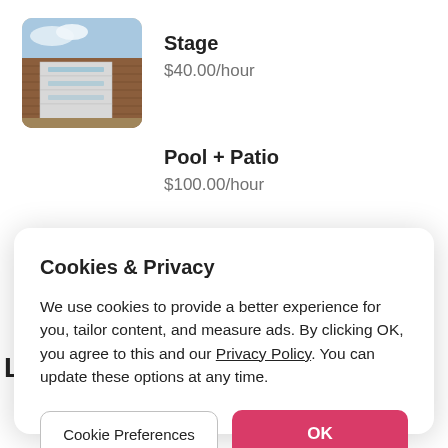[Figure (photo): Thumbnail photo of a modern building with wood siding and a white garage door]
Stage
$40.00/hour
Pool + Patio
$100.00/hour
Cookies & Privacy
We use cookies to provide a better experience for you, tailor content, and measure ads. By clicking OK, you agree to this and our Privacy Policy. You can update these options at any time.
Cookie Preferences
OK